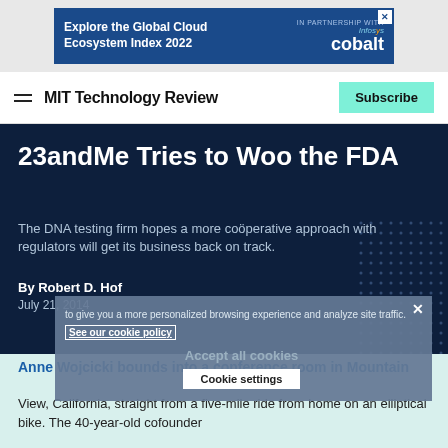[Figure (other): Advertisement banner: Explore the Global Cloud Ecosystem Index 2022, in partnership with Infosys cobalt]
MIT Technology Review — Subscribe
23andMe Tries to Woo the FDA
The DNA testing firm hopes a more coöperative approach with regulators will get its business back on track.
By Robert D. Hof
July 21, 2014
to give you a more personalized browsing experience and analyze site traffic. See our cookie policy
Accept all cookies
Cookie settings
Anne Wojcicki bounds into a conference room in Mountain View, California, straight from a five-mile ride from home on an elliptical bike. The 40-year-old cofounder